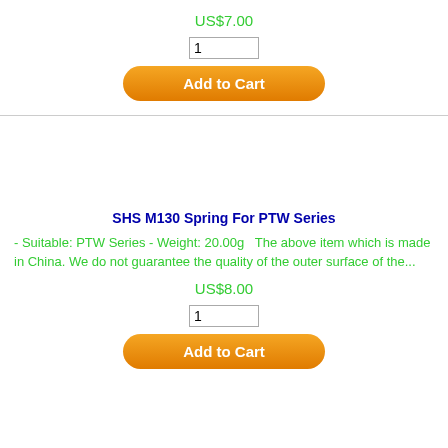US$7.00
1
Add to Cart
SHS M130 Spring For PTW Series
- Suitable: PTW Series - Weight: 20.00g   The above item which is made in China. We do not guarantee the quality of the outer surface of the...
US$8.00
1
Add to Cart